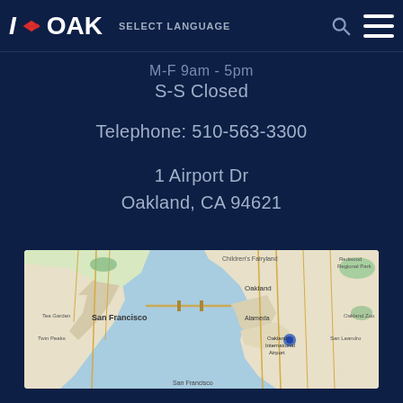I ✈ OAK  SELECT LANGUAGE
M-F 9am - 5pm
S-S Closed
Telephone: 510-563-3300
1 Airport Dr
Oakland, CA 94621
[Figure (map): Google Maps showing San Francisco Bay Area including San Francisco, Oakland, Alameda, and surrounding areas with Oakland International Airport marked]